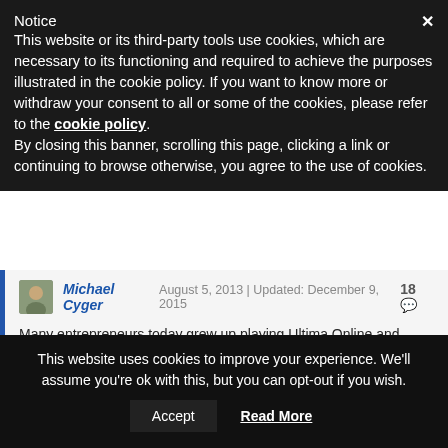Notice
This website or its third-party tools use cookies, which are necessary to its functioning and required to achieve the purposes illustrated in the cookie policy. If you want to know more or withdraw your consent to all or some of the cookies, please refer to the cookie policy.
By closing this banner, scrolling this page, clicking a link or continuing to browse otherwise, you agree to the use of cookies.
Michael Cyger   August 5, 2013 | Updated: December 9, 2015   18
Many entrepreneurs today grew up playing Ultima Online and other role-playing games. Gaming can teach you many things, including problem solving, how to look for clues, group dynamics – and game theory.
This website uses cookies to improve your experience. We'll assume you're ok with this, but you can opt-out if you wish.
Accept   Read More